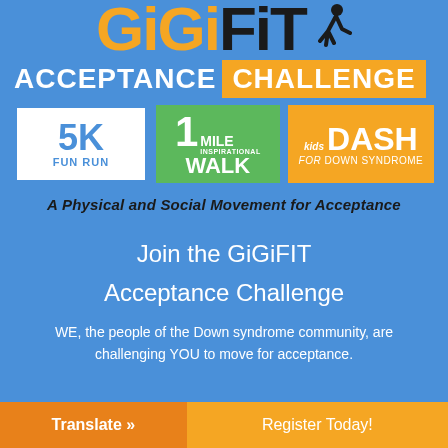[Figure (logo): GiGiFIT logo with orange GiGi text, black FIT text, and a running figure silhouette]
ACCEPTANCE CHALLENGE
[Figure (infographic): Three event badges: 5K Fun Run (white/blue), 1 Mile Inspirational Walk (green), Kids DASH for Down Syndrome (orange)]
A Physical and Social Movement for Acceptance
Join the GiGiFIT Acceptance Challenge
WE, the people of the Down syndrome community, are challenging YOU to move for acceptance.
Translate »
Register Today!